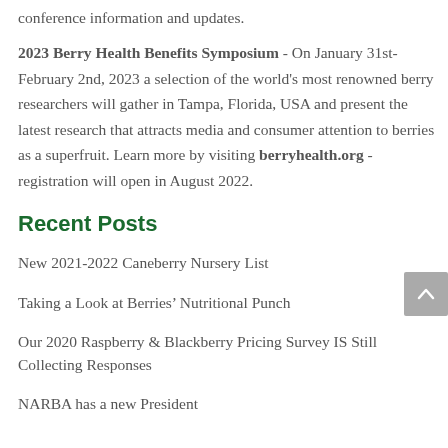conference information and updates.
2023 Berry Health Benefits Symposium - On January 31st-February 2nd, 2023 a selection of the world's most renowned berry researchers will gather in Tampa, Florida, USA and present the latest research that attracts media and consumer attention to berries as a superfruit. Learn more by visiting berryhealth.org - registration will open in August 2022.
Recent Posts
New 2021-2022 Caneberry Nursery List
Taking a Look at Berries’ Nutritional Punch
Our 2020 Raspberry & Blackberry Pricing Survey IS Still Collecting Responses
NARBA has a new President